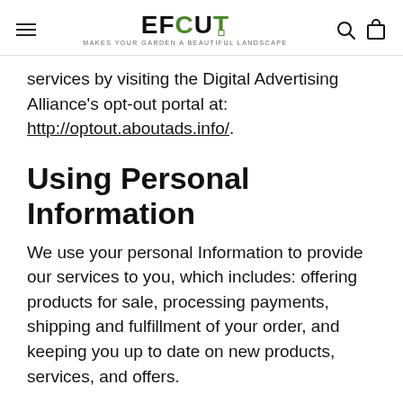EFCUT — MAKES YOUR GARDEN A BEAUTIFUL LANDSCAPE
services by visiting the Digital Advertising Alliance's opt-out portal at: http://optout.aboutads.info/.
Using Personal Information
We use your personal Information to provide our services to you, which includes: offering products for sale, processing payments, shipping and fulfillment of your order, and keeping you up to date on new products, services, and offers.